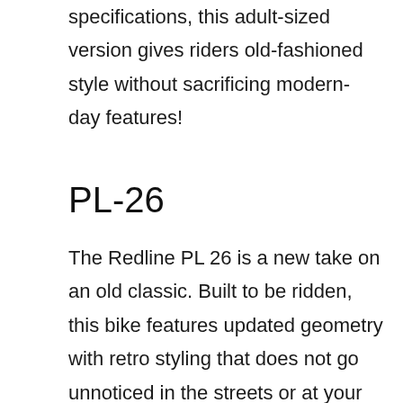specifications, this adult-sized version gives riders old-fashioned style without sacrificing modern-day features!
PL-26
The Redline PL 26 is a new take on an old classic. Built to be ridden, this bike features updated geometry with retro styling that does not go unnoticed in the streets or at your local track! A full Chromoly steel frame and fork make for lightweight durability, while double-wall rims provide stability when things get tough, coupled with aluminum hubs which give you wheels worthy of any ride – day long!